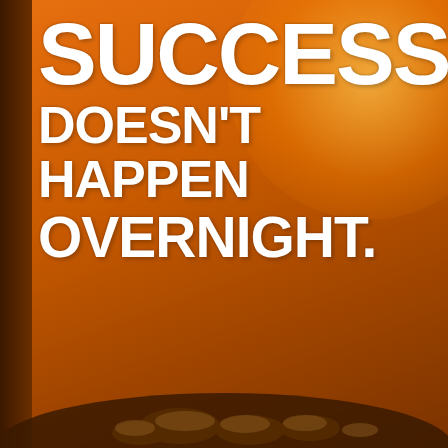[Figure (illustration): Motivational quote image with orange gradient background and warm sunlight glow. Large bold white chalk/brush-style text reads: SUCCESS DOESN'T HAPPEN OVERNIGHT. Bottom of image shows a silhouette of grass/ground against the orange sky background. A dark brown vertical strip appears on the left edge.]